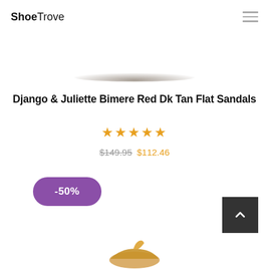ShoeTrove
Django & Juliette Bimere Red Dk Tan Flat Sandals
★★★★★
$149.95 $112.46
-50%
[Figure (photo): Partial view of a tan flat sandal appearing at the bottom of the page]
[Figure (other): Scroll-to-top button with upward chevron arrow on dark background]